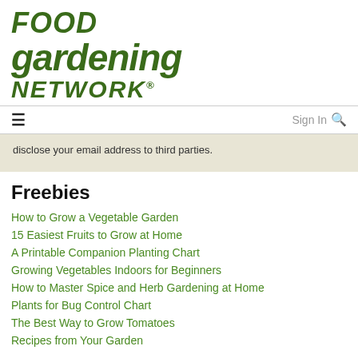[Figure (logo): Food Gardening Network logo in dark green bold italic text]
≡   Sign In 🔍
disclose your email address to third parties.
Freebies
How to Grow a Vegetable Garden
15 Easiest Fruits to Grow at Home
A Printable Companion Planting Chart
Growing Vegetables Indoors for Beginners
How to Master Spice and Herb Gardening at Home
Plants for Bug Control Chart
The Best Way to Grow Tomatoes
Recipes from Your Garden